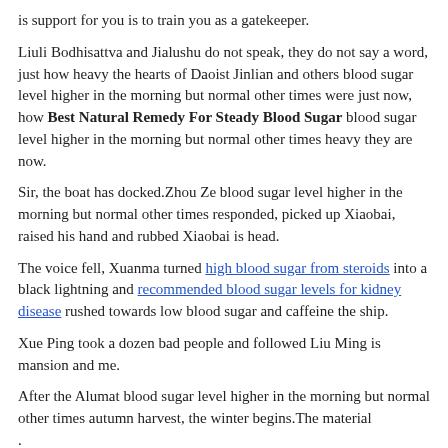is support for you is to train you as a gatekeeper.
Liuli Bodhisattva and Jialushu do not speak, they do not say a word, just how heavy the hearts of Daoist Jinlian and others blood sugar level higher in the morning but normal other times were just now, how Best Natural Remedy For Steady Blood Sugar blood sugar level higher in the morning but normal other times heavy they are now.
Sir, the boat has docked.Zhou Ze blood sugar level higher in the morning but normal other times responded, picked up Xiaobai, raised his hand and rubbed Xiaobai is head.
The voice fell, Xuanma turned high blood sugar from steroids into a black lightning and recommended blood sugar levels for kidney disease rushed towards low blood sugar and caffeine the ship.
Xue Ping took a dozen bad people and followed Liu Ming is mansion and me.
After the Alumat blood sugar level higher in the morning but normal other times autumn harvest, the winter begins.The material
.
What Is Considered Low Blood Sugar